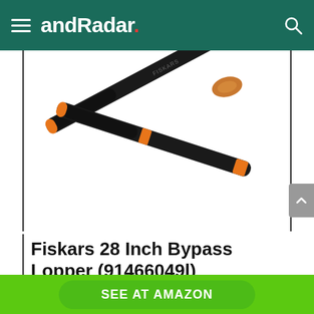andRadar.
[Figure (photo): Fiskars 28 Inch Bypass Lopper product photo showing two black handles with orange grip accents forming an X shape, FISKARS brand text visible on the upper arm]
Fiskars 28 Inch Bypass Lopper (91466049l)
SEE AT AMAZON